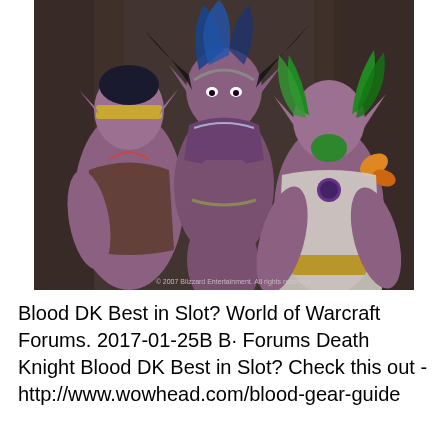[Figure (illustration): World of Warcraft fantasy illustration showing three night elf characters — a blindfolded male with purple skin on the left, a female dark elf warrior in purple armor in the center, and a green-haired male druid figure on the right — set against a dark forest background. Copyright watermark reads '© 2007 Blizzard Entertainment. All rights reserved.']
Blood DK Best in Slot? World of Warcraft Forums. 2017-01-25B B· Forums Death Knight Blood DK Best in Slot? Check this out - http://www.wowhead.com/blood-gear-guide